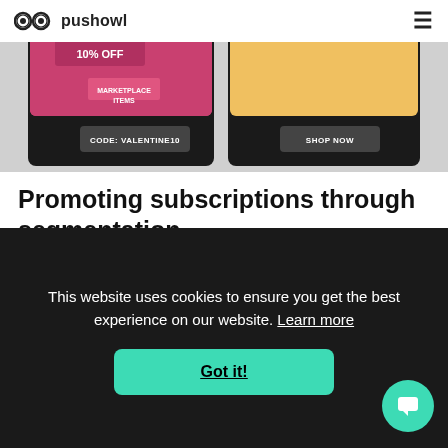pushowl
[Figure (screenshot): Two push notification examples side by side: left showing Valentine's Day promotion with 10% off and 'CODE: VALENTINE10' button; right showing a food/lifestyle notification with 'SHOP NOW' button]
Promoting subscriptions through segmentation
↑ AOV of 76.3USD for segmented campaigns
~30% increase in AOV by segmentation and...
This website uses cookies to ensure you get the best experience on our website. Learn more
Got it!
subscription boxes to their active customers, they